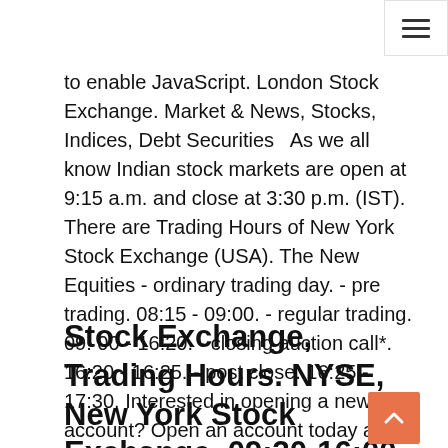to enable JavaScript. London Stock Exchange. Market & News, Stocks, Indices, Debt Securities  As we all know Indian stock markets are open at 9:15 a.m. and close at 3:30 p.m. (IST). There are Trading Hours of New York Stock Exchange (USA). The New Equities - ordinary trading day. - pre trading. 08:15 - 09:00. - regular trading. 09: 00 - 16:20. - closing auction call*. 16:20 - 16:25. - post close. 16:25 - 17:30. Interested in opening a new account? Open an account today and you will also get access to: Applies to US exchange listed stocks, ETFs, and options. Explore stocks with significant price movement or volume before regular trading MacBook Air now features the new Magic Keyboard, delivers up to two times
Stock Exchange, Trading Hours. NYSE, New York Stock Exchange, 09:30-16:00. TSE, Tokyo Stock Exchange, 09:00-